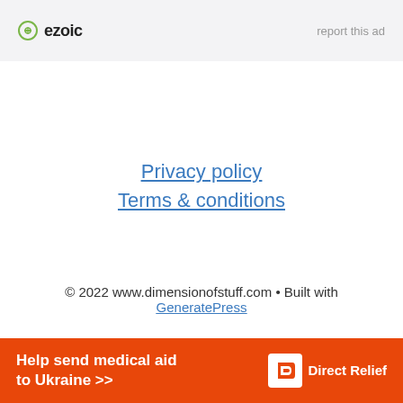[Figure (logo): Ezoic logo with circular icon and bold text 'ezoic', with 'report this ad' link on the right, on a light gray background]
Privacy policy
Terms & conditions
© 2022 www.dimensionofstuff.com • Built with GeneratePress
[Figure (other): Orange banner ad: 'Help send medical aid to Ukraine >>' with Direct Relief logo on the right]